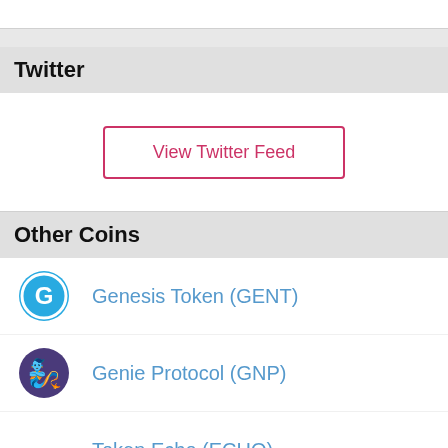Twitter
[Figure (other): View Twitter Feed button with red/pink border]
Other Coins
Genesis Token (GENT)
Genie Protocol (GNP)
Token Echo (ECHO)
Polkabase (PBASE)